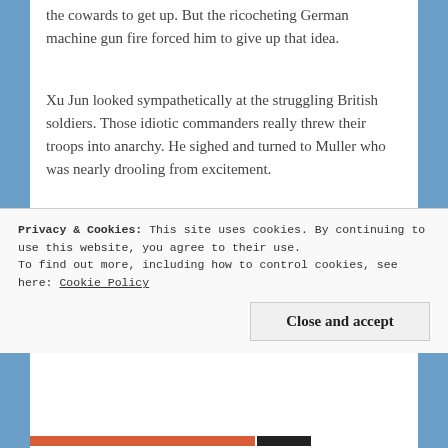the cowards to get up. But the ricocheting German machine gun fire forced him to give up that idea.
Xu Jun looked sympathetically at the struggling British soldiers. Those idiotic commanders really threw their troops into anarchy. He sighed and turned to Muller who was nearly drooling from excitement.
Privacy & Cookies: This site uses cookies. By continuing to use this website, you agree to their use. To find out more, including how to control cookies, see here: Cookie Policy
Close and accept